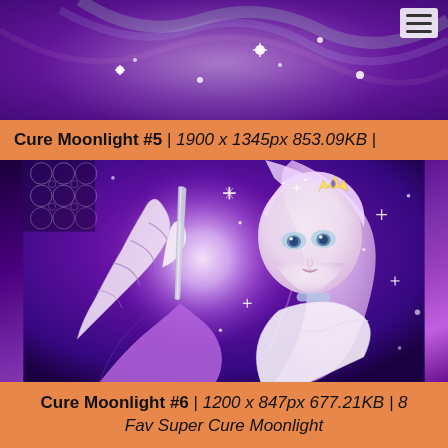[Figure (illustration): Anime-style artwork showing a magical girl character (Cure Moonlight) with pink/lavender hair, crown tiara, in a purple sparkly magical background with lace pattern top-left]
Cure Moonlight #5 | 1900 x 1345px 853.09KB |
[Figure (illustration): Anime illustration of Cure Moonlight character with long light purple/pink hair, blue eyes, gold tiara with heart gem, holding a blade/sword, dramatic purple glowing moon background with sparkles and lace]
Cure Moonlight #6 | 1200 x 847px 677.21KB | 8 Fav Super Cure Moonlight